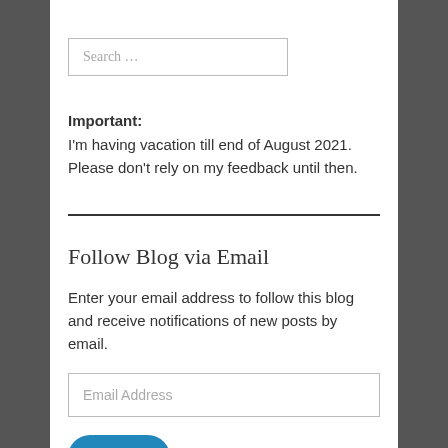Search …
Important: I'm having vacation till end of August 2021. Please don't rely on my feedback until then.
Follow Blog via Email
Enter your email address to follow this blog and receive notifications of new posts by email.
Email Address
Follow